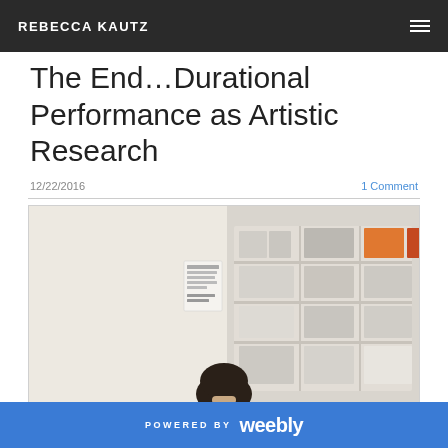REBECCA KAUTZ
The End…Durational Performance as Artistic Research
12/22/2016
1 Comment
[Figure (photo): A person sitting in an office room with shelving units filled with binders and boxes on the right side, and a wall with a posted notice. The back of the person's head is visible.]
POWERED BY weebly